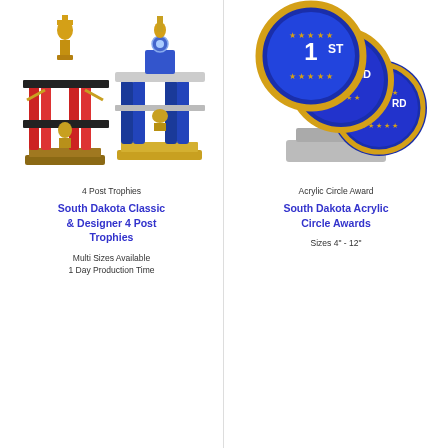[Figure (photo): Two 4-post trophies with red and blue columns on black/gold bases]
4 Post Trophies
South Dakota Classic & Designer 4 Post Trophies
Multi Sizes Available
1 Day Production Time
[Figure (photo): Three blue and gold acrylic circle awards labeled 1st, 2nd, 3rd with stars]
Acrylic Circle Award
South Dakota Acrylic Circle Awards
Sizes 4" - 12"